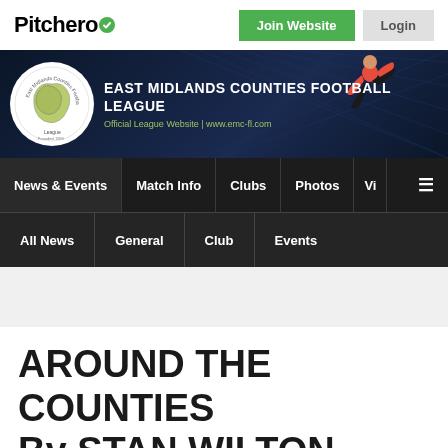Pitchero
[Figure (screenshot): East Midlands Counties Football League banner with logo and player image]
News & Events | Match Info | Clubs | Photos | Vi | ☰
All News | General | Club | Events
AROUND THE COUNTIES By STAN WILTON